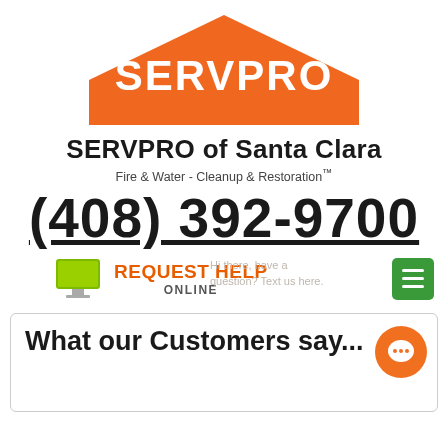[Figure (logo): SERVPRO house-shaped logo with orange roof/walls and white SERVPRO text]
SERVPRO of Santa Clara
Fire & Water - Cleanup & Restoration™
(408) 392-9700
[Figure (infographic): REQUEST HELP ONLINE button with green computer monitor icon, and a green hamburger menu button on the right. Chat overlay text: Hi there, have a question? Text us here.]
What our Customers say...